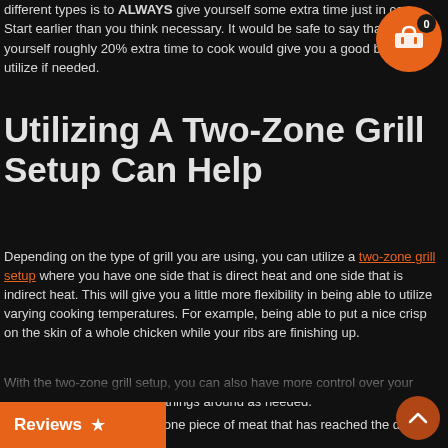different types is to ALWAYS give yourself some extra time just in case. Start earlier than you think necessary. It would be safe to say that giving yourself roughly 20% extra time to cook would give you a good buffer to utilize if needed.
Utilizing A Two-Zone Grill Setup Can Help
Depending on the type of grill you are using, you can utilize a two-zone grill setup where you have one side that is direct heat and one side that is indirect heat. This will give you a little more flexibility in being able to utilize varying cooking temperatures. For example, being able to put a nice crisp on the skin of a whole chicken while your ribs are finishing up.
With the two-zone grill setup, you can also have more control over your timing by being able to shift things around as needed.
For example, say you have one piece of meat that has reached the desired temperature a little early compared to the other pieces of meat and is done now. By shifting that piece totally into the indirect zone, it can hold temperature for a little bit longer until the other pieces are